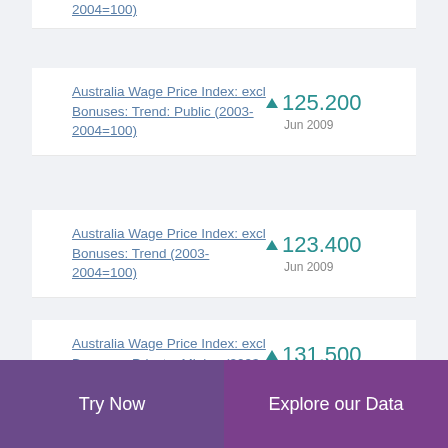2004=100)
Australia Wage Price Index: excl Bonuses: Trend: Public (2003-2004=100)
▲ 125.200
Jun 2009
Australia Wage Price Index: excl Bonuses: Trend (2003-2004=100)
▲ 123.400
Jun 2009
Australia Wage Price Index: excl Bonuses: Private: Mining (2003-2004=100)
▲ 131.500
Jun 2009
Try Now    Explore our Data